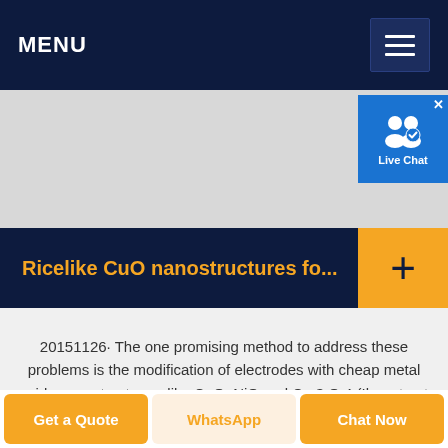MENU
[Figure (screenshot): Grey banner/advertisement area]
[Figure (screenshot): Live Chat widget with user icon and blue background]
Ricelike CuO nanostructures fo...
20151126· The one promising method to address these problems is the modification of electrodes with cheap metal oxide nanostructures, like CuO, NiO and Co 3 O 4 (Ibupoto et al. 2015). Such electrodes demonstrate increased mass transportation, faster electron transport, larger surface area and lower detection limits compared to the
Get a Quote | WhatsApp | Chat Now